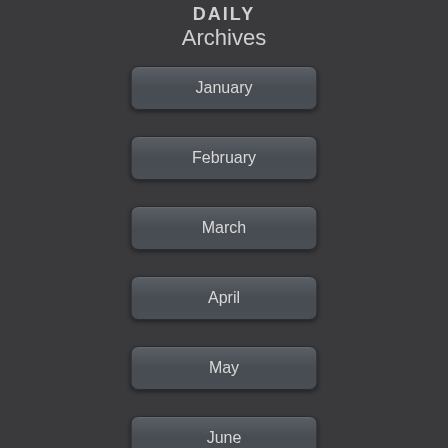DAILY Archives
January
February
March
April
May
June
July
August